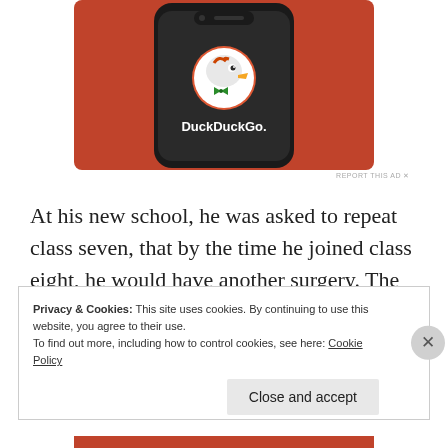[Figure (screenshot): DuckDuckGo app icon displayed on a smartphone screen against an orange/red background. The phone shows the DuckDuckGo logo (duck mascot in white circle) and the text 'DuckDuckGo.' below it.]
REPORT THIS AD
At his new school, he was asked to repeat class seven, that by the time he joined class eight, he would have another surgery. The transition was a boon for Mr. Karungu’s religious growth.
Privacy & Cookies: This site uses cookies. By continuing to use this website, you agree to their use.
To find out more, including how to control cookies, see here: Cookie Policy
Close and accept